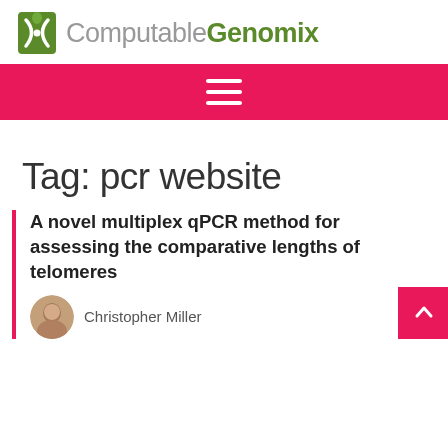Computable Genomix
[Figure (logo): ComputableGenomix logo with green DNA/scissor icon and text 'ComputableGenomix']
Tag: pcr website
A novel multiplex qPCR method for assessing the comparative lengths of telomeres
Christopher Miller